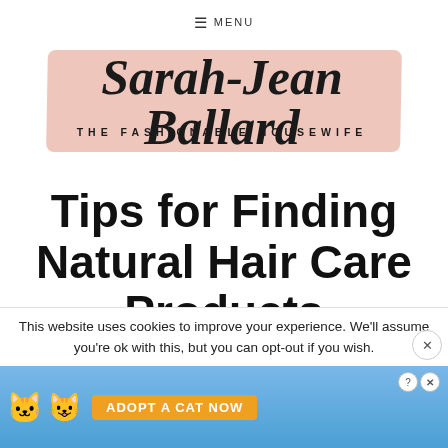≡ MENU
[Figure (logo): Sarah-Jean Ballard — The Fashionable Housewife logo with script cursive text on a pink/salmon brush stroke background]
Tips for Finding Natural Hair Care Products
This website uses cookies to improve your experience. We'll assume you're ok with this, but you can opt-out if you wish.
[Figure (screenshot): Advertisement banner for a cat game: 'Adopt A Cat Now' with cartoon cat characters on a blue background]